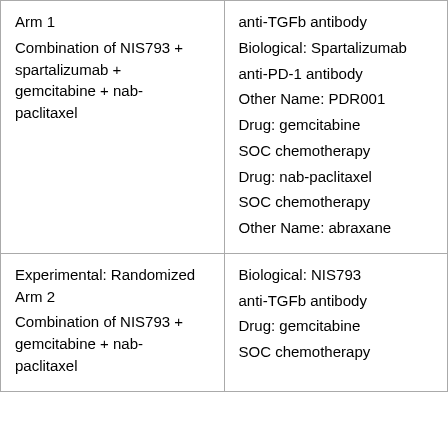| Arm/Intervention | Drug/Biological Details |
| --- | --- |
| Arm 1
Combination of NIS793 + spartalizumab + gemcitabine + nab-paclitaxel | anti-TGFb antibody
Biological: Spartalizumab
anti-PD-1 antibody
Other Name: PDR001

Drug: gemcitabine
SOC chemotherapy

Drug: nab-paclitaxel
SOC chemotherapy
Other Name: abraxane |
| Experimental: Randomized Arm 2
Combination of NIS793 + gemcitabine + nab-paclitaxel | Biological: NIS793
anti-TGFb antibody

Drug: gemcitabine
SOC chemotherapy |